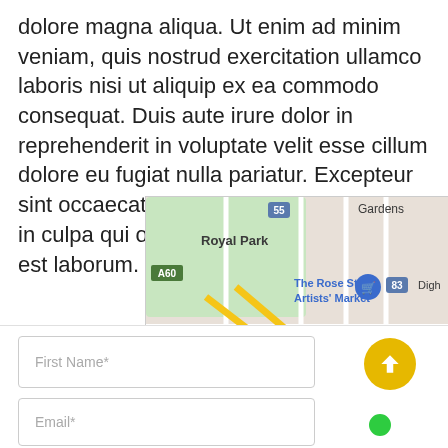dolore magna aliqua. Ut enim ad minim veniam, quis nostrud exercitation ullamco laboris nisi ut aliquip ex ea commodo consequat. Duis aute irure dolor in reprehenderit in voluptate velit esse cillum dolore eu fugiat nulla pariatur. Excepteur sint occaecat cupidatat non proident, sunt in culpa qui officia deserunt mollit anim id est laborum.
[Figure (map): Google Maps view showing Royal Park, The Rose Street Artists' Market, Gardens area, Fitzroy, and surrounding Melbourne streets with route markers A60, 55, 83, 34.]
[Figure (screenshot): Web form with First Name* and Email* input fields, a gold circular scroll-up button with an upward arrow, and a green location dot partially visible.]